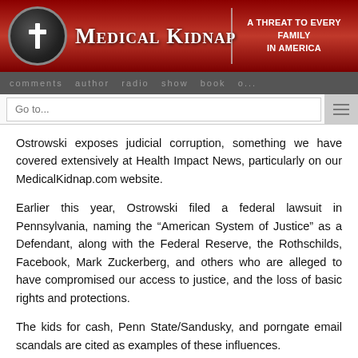MEDICAL KIDNAP | A THREAT TO EVERY FAMILY IN AMERICA
comments  author  radio  show  book  o...
Go to...
Ostrowski exposes judicial corruption, something we have covered extensively at Health Impact News, particularly on our MedicalKidnap.com website.
Earlier this year, Ostrowski filed a federal lawsuit in Pennsylvania, naming the “American System of Justice” as a Defendant, along with the Federal Reserve, the Rothschilds, Facebook, Mark Zuckerberg, and others who are alleged to have compromised our access to justice, and the loss of basic rights and protections.
The kids for cash, Penn State/Sandusky, and porngate email scandals are cited as examples of these influences.